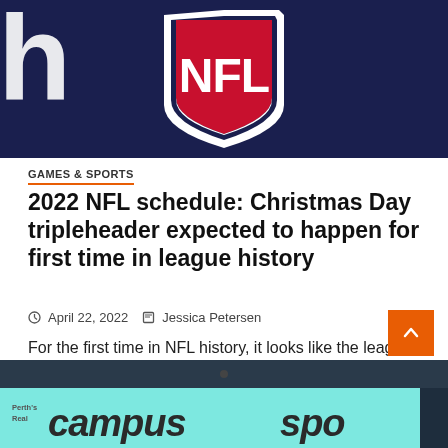[Figure (photo): NFL shield logo on dark navy blue background, showing the red NFL letters on a white and red shield with white outline]
GAMES & SPORTS
2022 NFL schedule: Christmas Day tripleheader expected to happen for first time in league history
April 22, 2022   Jessica Petersen
For the first time in NFL history, it looks like the league is planning to play a tripleheader on Christmas....
[Figure (photo): Partial view of Perth's Campus Sports sign on a teal/aqua background, showing the text 'campus' in large italic letters, with 'Perth's Real' in smaller text to the left]